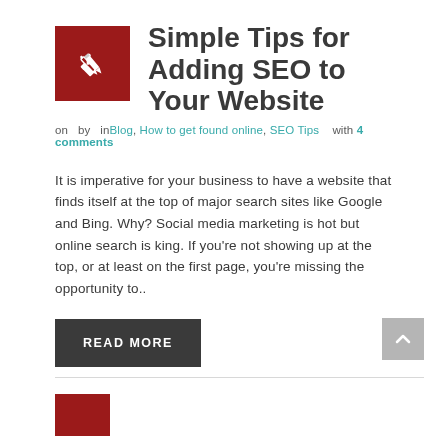Simple Tips for Adding SEO to Your Website
on  by  inBlog, How to get found online, SEO Tips  with 4 comments
It is imperative for your business to have a website that finds itself at the top of major search sites like Google and Bing. Why? Social media marketing is hot but online search is king. If you're not showing up at the top, or at least on the first page, you're missing the opportunity to..
READ MORE